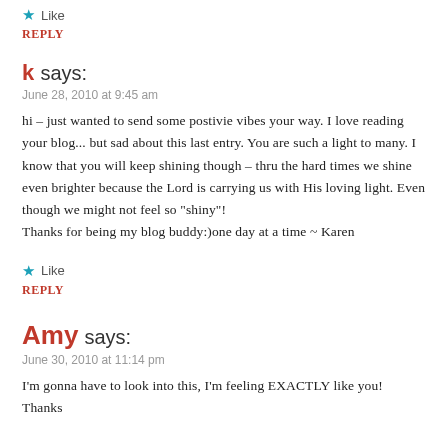★ Like
REPLY
k says:
June 28, 2010 at 9:45 am
hi – just wanted to send some postivie vibes your way. I love reading your blog... but sad about this last entry. You are such a light to many. I know that you will keep shining though – thru the hard times we shine even brighter because the Lord is carrying us with His loving light. Even though we might not feel so "shiny"!
Thanks for being my blog buddy:)one day at a time ~ Karen
★ Like
REPLY
Amy says:
June 30, 2010 at 11:14 pm
I'm gonna have to look into this, I'm feeling EXACTLY like you! Thanks